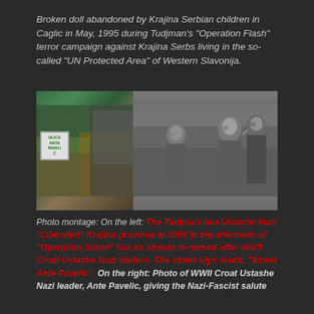Broken doll abandoned by Krajina Serbian children in Caglic in May, 1995 during Tudjman's "Operation Flash" terror campaign against Krajina Serbs living in the so-called "UN Protected Area" of Western Slavonija.
[Figure (photo): Photo montage: Left side shows a street sign reading 'ULICA ANTE PAVELIC' in green text on white background, with colorful graffiti and market stall behind it. Right side shows a black-and-white historical photo of WWII-era soldiers giving a fascist salute, with Ante Pavelic on the right.]
Photo montage: On the left: The Tudjman neo-Ustashe Nazi "Liberated" Krajina province in 1995 in the aftermath of "Operation Storm" has its streets re-named after WWII Croat Ustashe Nazi leaders. The street sign reads: "Street Ante Pavelic". On the right: Photo of WWII Croat Ustashe Nazi leader, Ante Pavelic, giving the Nazi-Fascist salute